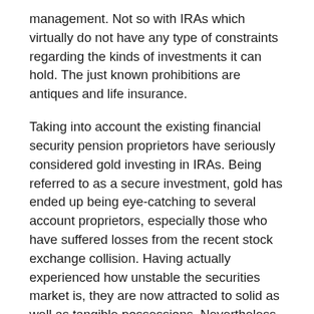management. Not so with IRAs which virtually do not have any type of constraints regarding the kinds of investments it can hold. The just known prohibitions are antiques and life insurance.
Taking into account the existing financial security pension proprietors have seriously considered gold investing in IRAs. Being referred to as a secure investment, gold has ended up being eye-catching to several account proprietors, especially those who have suffered losses from the recent stock exchange collision. Having actually experienced how unstable the securities market is, they are now attracted to solid as well as tangible possessions. Nevertheless it is their future that is at stake when making investment decisions.
The procedure of gold investing in IRAs is fairly easy to do. All one has to do is established a self guided IRA account. Doing so would require you to rollover funds